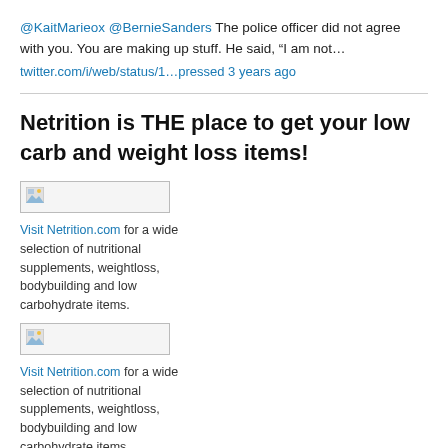@KaitMarieox @BernieSanders The police officer did not agree with you. You are making up stuff. He said, “I am not…
twitter.com/i/web/status/1…pressed 3 years ago
Netrition is THE place to get your low carb and weight loss items!
[Figure (photo): Broken image placeholder thumbnail]
Visit Netrition.com for a wide selection of nutritional supplements, weightloss, bodybuilding and low carbohydrate items.
[Figure (photo): Broken image placeholder thumbnail]
Visit Netrition.com for a wide selection of nutritional supplements, weightloss, bodybuilding and low carbohydrate items.
Skinny Rules